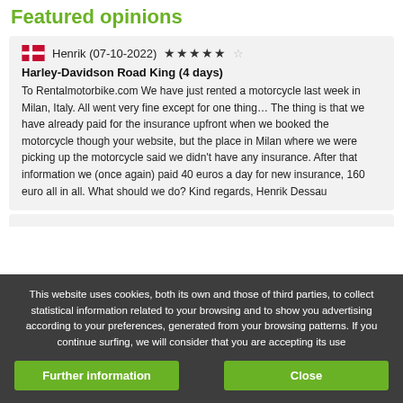Featured opinions
Henrik (07-10-2022) ★★★★½
Harley-Davidson Road King (4 days)
To Rentalmotorbike.com We have just rented a motorcycle last week in Milan, Italy. All went very fine except for one thing… The thing is that we have already paid for the insurance upfront when we booked the motorcycle though your website, but the place in Milan where we were picking up the motorcycle said we didn't have any insurance. After that information we (once again) paid 40 euros a day for new insurance, 160 euro all in all. What should we do? Kind regards, Henrik Dessau
This website uses cookies, both its own and those of third parties, to collect statistical information related to your browsing and to show you advertising according to your preferences, generated from your browsing patterns. If you continue surfing, we will consider that you are accepting its use
Further information
Close